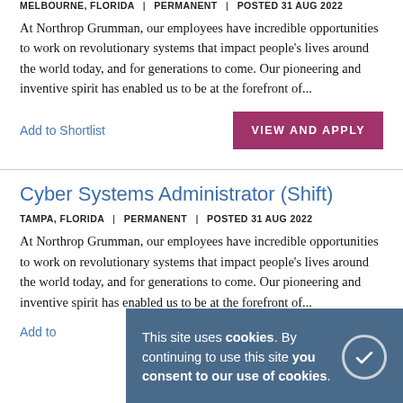MELBOURNE, FLORIDA | PERMANENT | POSTED 31 AUG 2022
At Northrop Grumman, our employees have incredible opportunities to work on revolutionary systems that impact people's lives around the world today, and for generations to come. Our pioneering and inventive spirit has enabled us to be at the forefront of...
Add to Shortlist
VIEW AND APPLY
Cyber Systems Administrator (Shift)
TAMPA, FLORIDA | PERMANENT | POSTED 31 AUG 2022
At Northrop Grumman, our employees have incredible opportunities to work on revolutionary systems that impact people's lives around the world today, and for generations to come. Our pioneering and inventive spirit has enabled us to be at the forefront of...
Add to
This site uses cookies. By continuing to use this site you consent to our use of cookies.